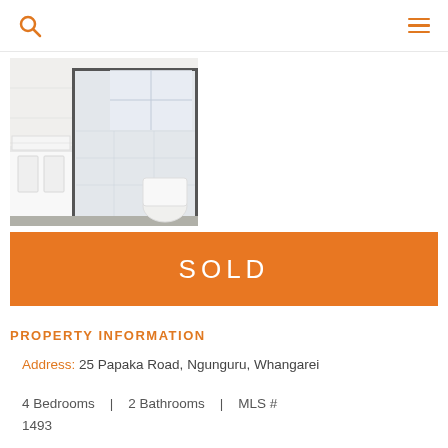search icon | menu icon
[Figure (photo): Bathroom interior photo showing white vanity, glass shower enclosure with dark frame, and tiled walls]
SOLD
PROPERTY INFORMATION
Address: 25 Papaka Road, Ngunguru, Whangarei
4 Bedrooms | 2 Bathrooms | MLS # 1493